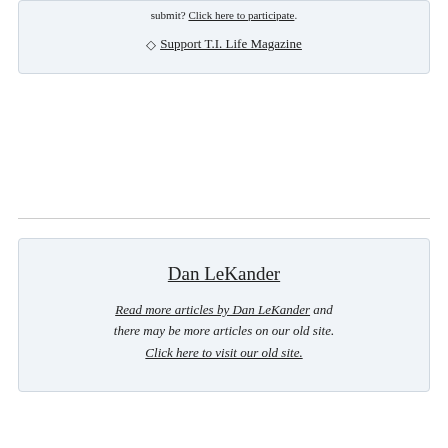submit? Click here to participate.
♦ Support T.I. Life Magazine
Dan LeKander
Read more articles by Dan LeKander and there may be more articles on our old site. Click here to visit our old site.